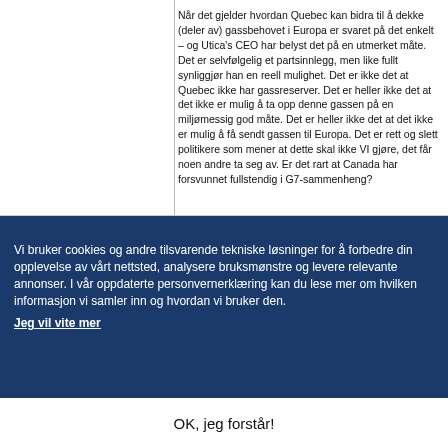Når det gjelder hvordan Quebec kan bidra til å dekke (deler av) gassbehovet i Europa er svaret på det enkelt – og Utica's CEO har belyst det på en utmerket måte. Det er selvfølgelig et partsinnlegg, men like fullt synliggjør han en reell mulighet. Det er ikke det at Quebec ikke har gassreserver. Det er heller ikke det at det ikke er mulig å ta opp denne gassen på en miljømessig god måte. Det er heller ikke det at det ikke er mulig å få sendt gassen til Europa. Det er rett og slett politikere som mener at dette skal ikke VI gjøre, det får noen andre ta seg av. Er det rart at Canada har forsvunnet fullstendig i G7-sammenheng?
Vi bruker cookies og andre tilsvarende tekniske løsninger for å forbedre din opplevelse av vårt nettsted, analysere bruksmønstre og levere relevante annonser. I vår oppdaterte personvernerklæring kan du lese mer om hvilken informasjon vi samler inn og hvordan vi bruker den.
Jeg vil vite mer
OK, jeg forstår!